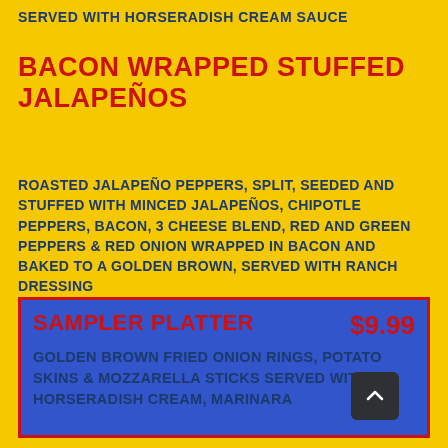SERVED WITH HORSERADISH CREAM SAUCE
BACON WRAPPED STUFFED JALAPEÑOS
ROASTED JALAPEÑO PEPPERS, SPLIT, SEEDED AND STUFFED WITH MINCED JALAPEÑOS, CHIPOTLE PEPPERS, BACON, 3 CHEESE BLEND, RED AND GREEN PEPPERS & RED ONION WRAPPED IN BACON AND BAKED TO A GOLDEN BROWN, SERVED WITH RANCH DRESSING
SAMPLER PLATTER $9.99
GOLDEN BROWN FRIED ONION RINGS, POTATO SKINS & MOZZARELLA STICKS SERVED WITH HORSERADISH CREAM, MARINARA